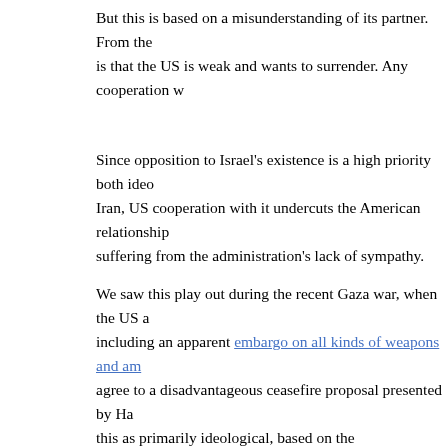But this is based on a misunderstanding of its partner. From the is that the US is weak and wants to surrender. Any cooperation w
Since opposition to Israel's existence is a high priority both ideo Iran, US cooperation with it undercuts the American relationship suffering from the administration's lack of sympathy.
We saw this play out during the recent Gaza war, when the US a including an apparent embargo on all kinds of weapons and am agree to a disadvantageous ceasefire proposal presented by Ha this as primarily ideological, based on the administration's misp indigenous people oppressed by a colonialist Israel, and their str a 'civil rights' issue.
The US agreed to donate $212 million to rebuilding Hamas-con conference, to which Israel was pointedly not invited. In all, the is as if Hitler were allowed to remain in power in 1945 to help c
So we have the US, on the one hand, doing everything short of